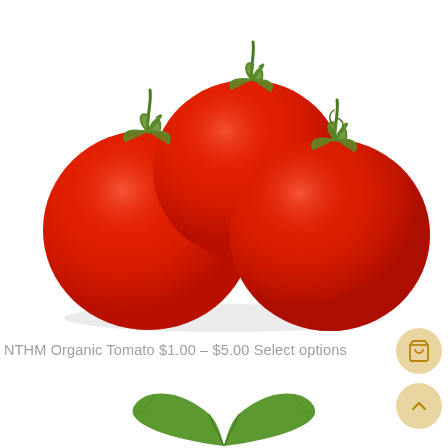[Figure (photo): Three red tomatoes with green stems clustered together on a white background]
NTHM Organic Tomato $1.00 – $5.00 Select options
[Figure (illustration): A green tomato leaf at the bottom of the page]